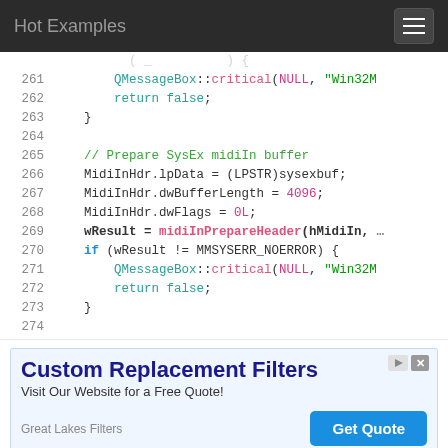Hot Examples
[Figure (screenshot): Syntax-highlighted code block showing C++ lines 261–274 with MIDI and QMessageBox code]
[Figure (infographic): Ad banner: Custom Replacement Filters – Visit Our Website for a Free Quote! Great Lakes Filters. Get Quote button.]